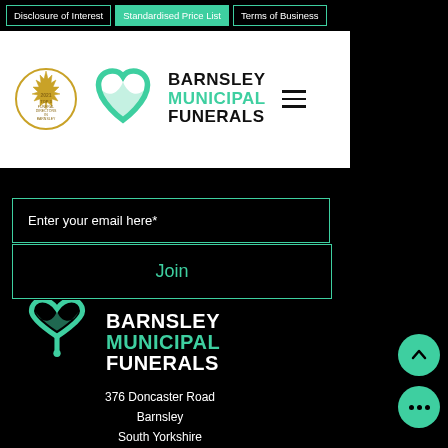Disclosure of Interest | Standardised Price List | Terms of Business
[Figure (logo): Barnsley Municipal Funerals logo with award badge, heart logo mark, brand name in black and teal, and hamburger menu icon]
Enter your email here*
Join
[Figure (logo): Barnsley Municipal Funerals footer logo with teal heart icon and brand name BARNSLEY MUNICIPAL FUNERALS in white and teal]
376 Doncaster Road
Barnsley
South Yorkshire
S70 3RH